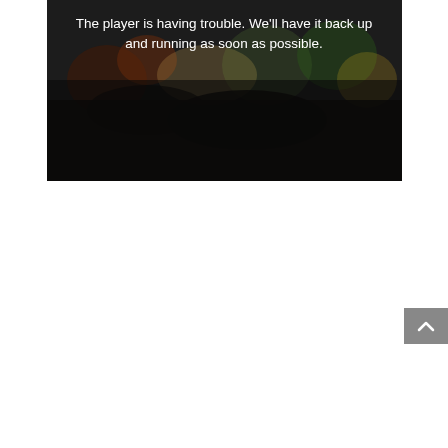[Figure (screenshot): Video player error screen showing a darkened background image of vegetables on a wooden surface with white error text overlay reading: The player is having trouble. We'll have it back up and running as soon as possible.]
The player is having trouble. We'll have it back up and running as soon as possible.
[Figure (other): Scroll-to-top button in gray with an upward chevron arrow, positioned at the bottom right of the page.]